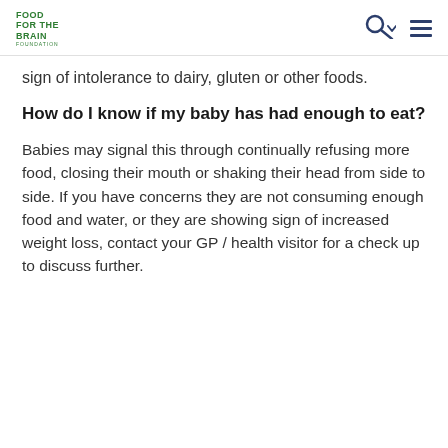FOOD FOR THE BRAIN FOUNDATION
sign of intolerance to dairy, gluten or other foods.
How do I know if my baby has had enough to eat?
Babies may signal this through continually refusing more food, closing their mouth or shaking their head from side to side. If you have concerns they are not consuming enough food and water, or they are showing sign of increased weight loss, contact your GP / health visitor for a check up to discuss further.